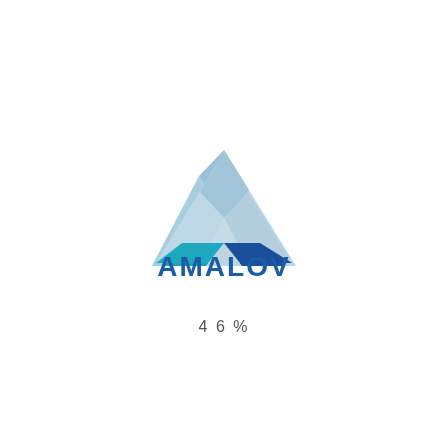[Figure (logo): AMALOV company logo: a triangular geometric shape made of light blue and dark blue segments above the bold blue text AMALOV]
46%